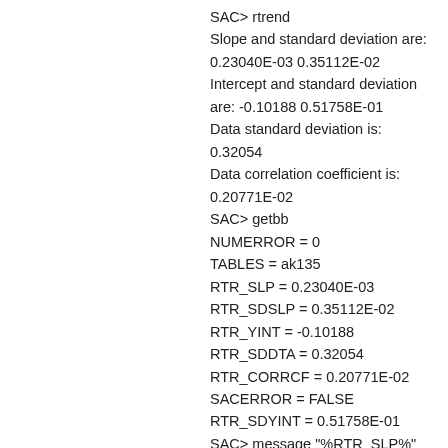SAC> rtrend
Slope and standard deviation are: 0.23040E-03 0.35112E-02
Intercept and standard deviation are: -0.10188 0.51758E-01
Data standard deviation is: 0.32054
Data correlation coefficient is: 0.20771E-02
SAC> getbb
NUMERROR = 0
TABLES = ak135
RTR_SLP = 0.23040E-03
RTR_SDSLP = 0.35112E-02
RTR_YINT = -0.10188
RTR_SDDTA = 0.32054
RTR_CORRCF = 0.20771E-02
SACERROR = FALSE
RTR_SDYINT = 0.51758E-01
SAC> message "%RTR_SLP%"
0.23040E-03
SAC>